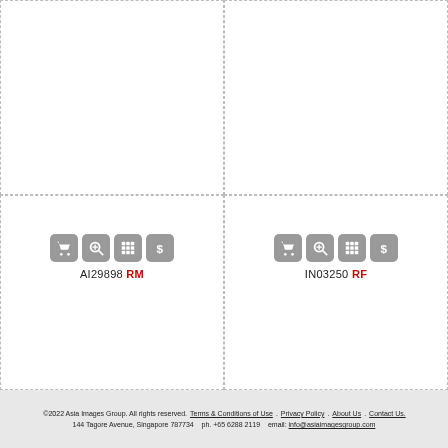[Figure (screenshot): Top-left image cell (blank white area with dashed border)]
[Figure (screenshot): Top-right image cell (blank white area with dashed border)]
[Figure (screenshot): Bottom-left image cell with action icons and ID: AI29898 RM]
[Figure (screenshot): Bottom-right image cell with action icons and ID: IN03250 RF]
©2022 Asia Images Group. All rights reserved. Terms & Conditions of Use. Privacy Policy. About Us. Contact Us. 144 Tagore Avenue, Singapore 787734   ph. +65 6288 2119   email: info@asiaimagesgroup.com